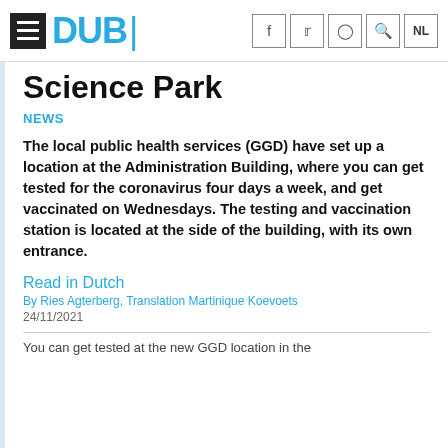DUB
Science Park
NEWS
The local public health services (GGD) have set up a location at the Administration Building, where you can get tested for the coronavirus four days a week, and get vaccinated on Wednesdays. The testing and vaccination station is located at the side of the building, with its own entrance.
Read in Dutch
By Ries Agterberg, Translation Martinique Koevoets
24/11/2021
You can get tested at the new GGD location in the